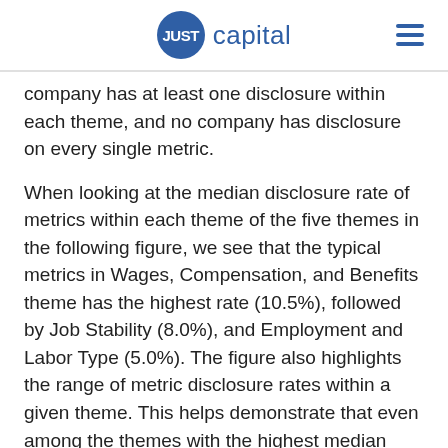JUST capital
company has at least one disclosure within each theme, and no company has disclosure on every single metric.
When looking at the median disclosure rate of metrics within each theme of the five themes in the following figure, we see that the typical metrics in Wages, Compensation, and Benefits theme has the highest rate (10.5%), followed by Job Stability (8.0%), and Employment and Labor Type (5.0%). The figure also highlights the range of metric disclosure rates within a given theme. This helps demonstrate that even among the themes with the highest median disclosure rates, disclosure on metrics can be highly variable. The Wages, Compensation, and